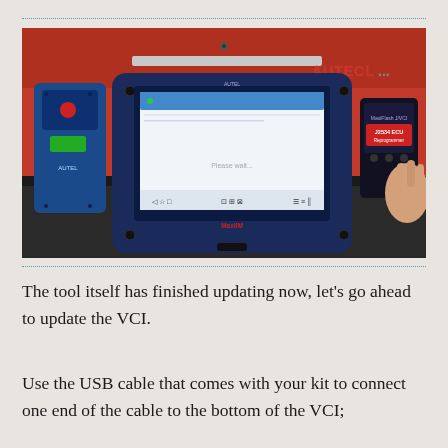[Figure (photo): Photo of an Autel MaxiIM tablet diagnostic tool on a workbench in front of a red tool chest. The tablet's screen shows a blue-themed interface. To the left is a blue key programmer device. To the right, a hand holds a MaxiFlash J2534 ECU Reprogrammer device.]
The tool itself has finished updating now, let's go ahead to update the VCI.
Use the USB cable that comes with your kit to connect one end of the cable to the bottom of the VCI;